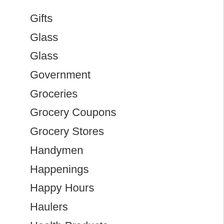Gifts
Glass
Glass
Government
Groceries
Grocery Coupons
Grocery Stores
Handymen
Happenings
Happy Hours
Haulers
Health Products
Health Services
Healthcare
Heating